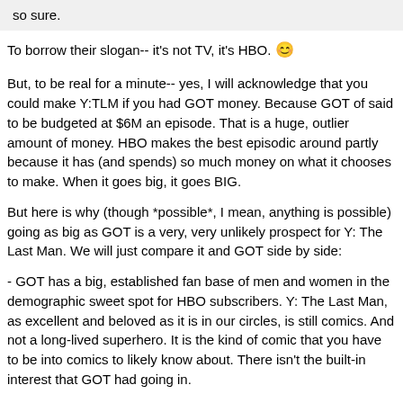so sure.
To borrow their slogan-- it's not TV, it's HBO. 😊
But, to be real for a minute-- yes, I will acknowledge that you could make Y:TLM if you had GOT money. Because GOT of said to be budgeted at $6M an episode. That is a huge, outlier amount of money. HBO makes the best episodic around partly because it has (and spends) so much money on what it chooses to make. When it goes big, it goes BIG.
But here is why (though *possible*, I mean, anything is possible) going as big as GOT is a very, very unlikely prospect for Y: The Last Man. We will just compare it and GOT side by side:
- GOT has a big, established fan base of men and women in the demographic sweet spot for HBO subscribers. Y: The Last Man, as excellent and beloved as it is in our circles, is still comics. And not a long-lived superhero. It is the kind of comic that you have to be into comics to likely know about. There isn't the built-in interest that GOT had going in.
- There is the unfortunate facts about how hard it can be to get men to watch a show that is almost entirely women. Now, I am not saying that belief